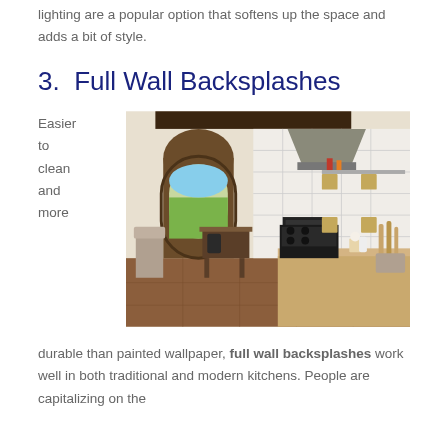lighting are a popular option that softens up the space and adds a bit of style.
3.  Full Wall Backsplashes
Easier to clean and more
[Figure (photo): Kitchen interior with arched door, white tile backsplash covering the full wall, range hood, stove, and wooden island counter.]
durable than painted wallpaper, full wall backsplashes work well in both traditional and modern kitchens. People are capitalizing on the